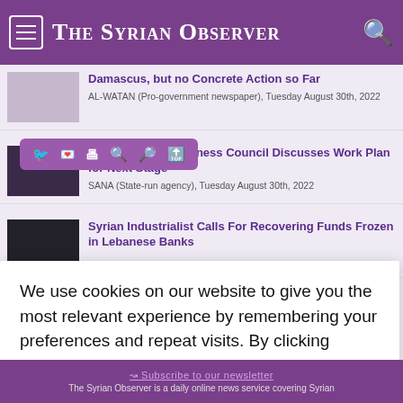The Syrian Observer
[Figure (screenshot): Thumbnail image of Damascus skyline, blurred/muted]
Damascus, but no Concrete Action so Far
AL-WATAN (Pro-government newspaper), Tuesday August 30th, 2022
[Figure (screenshot): Toolbar overlay with social share icons: Facebook, Twitter, print, zoom out, zoom in, upload]
[Figure (screenshot): Thumbnail image of Syrian-Emirati business meeting]
Syrian-Emirati Business Council Discusses Work Plan for Next Stage
SANA (State-run agency), Tuesday August 30th, 2022
[Figure (screenshot): Thumbnail image dark interior]
Syrian Industrialist Calls For Recovering Funds Frozen in Lebanese Banks
ab), Tuesday August
raws S300
day August 29th,
We use cookies on our website to give you the most relevant experience by remembering your preferences and repeat visits. By clicking “Accept”, you consent to the use of ALL the cookies.
Do not sell my personal information.
Cookie Settings
Accept
Subscribe to our newsletter
The Syrian Observer is a daily online news service covering Syrian